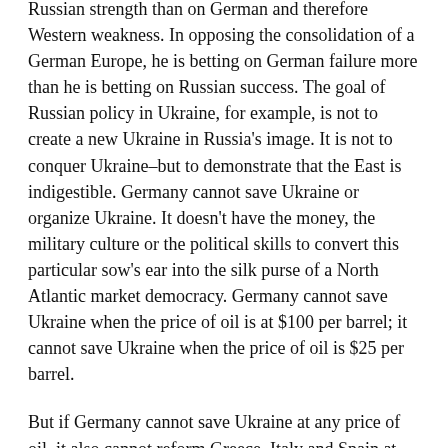Russian strength than on German and therefore Western weakness. In opposing the consolidation of a German Europe, he is betting on German failure more than he is betting on Russian success. The goal of Russian policy in Ukraine, for example, is not to create a new Ukraine in Russia's image. It is not to conquer Ukraine–but to demonstrate that the East is indigestible. Germany cannot save Ukraine or organize Ukraine. It doesn't have the money, the military culture or the political skills to convert this particular sow's ear into the silk purse of a North Atlantic market democracy. Germany cannot save Ukraine when the price of oil is at $100 per barrel; it cannot save Ukraine when the price of oil is $25 per barrel.
But if Germany cannot save Ukraine at any price of oil, it also cannot reform Greece, Italy and Spain at any value of the euro. Putin doesn't see his job as one of building up a powerful force to counter a rising Germany. He sees his job as being able to take advantage of the coming failures and catastrophes of what he believes to be the grandiose and unsustainable Western project in Europe.